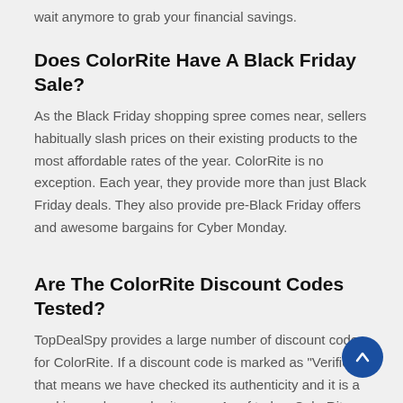wait anymore to grab your financial savings.
Does ColorRite Have A Black Friday Sale?
As the Black Friday shopping spree comes near, sellers habitually slash prices on their existing products to the most affordable rates of the year. ColorRite is no exception. Each year, they provide more than just Black Friday deals. They also provide pre-Black Friday offers and awesome bargains for Cyber Monday.
Are The ColorRite Discount Codes Tested?
TopDealSpy provides a large number of discount codes for ColorRite. If a discount code is marked as "Verified", that means we have checked its authenticity and it is a working code on colorrite.com. As of today, ColorRite has 0 tested offers and bargains overall.